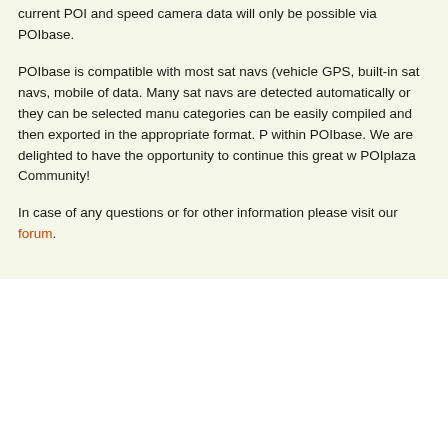current POI and speed camera data will only be possible via POIbase.
POIbase is compatible with most sat navs (vehicle GPS, built-in sat navs, mobile of data. Many sat navs are detected automatically or they can be selected manually. categories can be easily compiled and then exported in the appropriate format. P within POIbase. We are delighted to have the opportunity to continue this great w POIplaza Community!
In case of any questions or for other information please visit our forum.